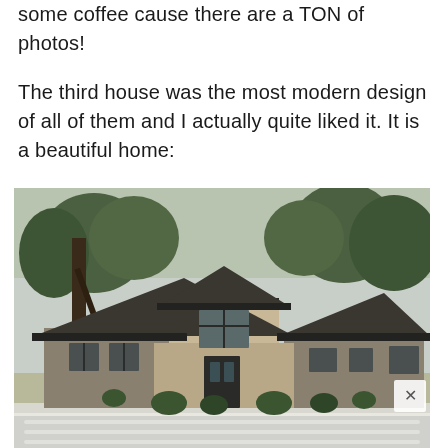some coffee cause there are a TON of photos!
The third house was the most modern design of all of them and I actually quite liked it. It is a beautiful home:
[Figure (photo): Exterior photo of a large modern Prairie-style house with dark trim, stone and stucco facade, dark hip roofs, large windows, and lush green trees in the background. A white fence is partially visible at the bottom.]